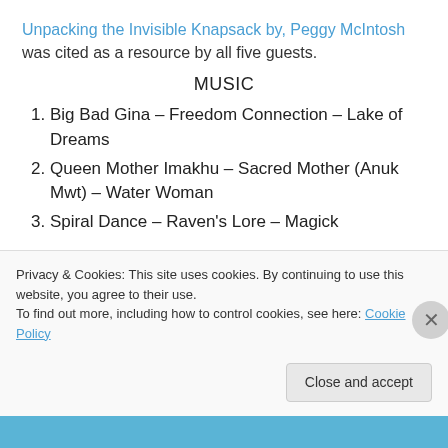Unpacking the Invisible Knapsack by, Peggy McIntosh was cited as a resource by all five guests.
MUSIC
Big Bad Gina – Freedom Connection – Lake of Dreams
Queen Mother Imakhu – Sacred Mother (Anuk Mwt) – Water Woman
Spiral Dance – Raven's Lore – Magick
Privacy & Cookies: This site uses cookies. By continuing to use this website, you agree to their use.
To find out more, including how to control cookies, see here: Cookie Policy